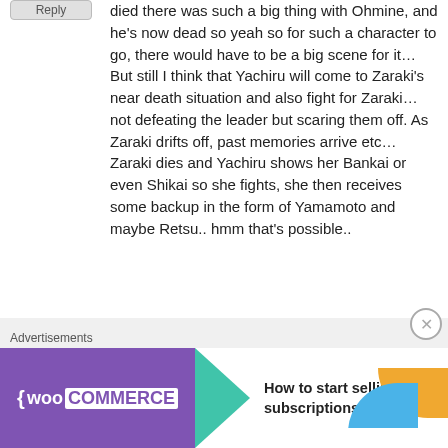Reply
died there was such a big thing with Ohmine, and he's now dead so yeah so for such a character to go, there would have to be a big scene for it… But still I think that Yachiru will come to Zaraki's near death situation and also fight for Zaraki… not defeating the leader but scaring them off. As Zaraki drifts off, past memories arrive etc… Zaraki dies and Yachiru shows her Bankai or even Shikai so she fights, she then receives some backup in the form of Yamamoto and maybe Retsu.. hmm that's possible..
Like
Advertisements
[Figure (screenshot): WooCommerce advertisement banner with purple background, teal arrow, and text 'How to start selling subscriptions online']